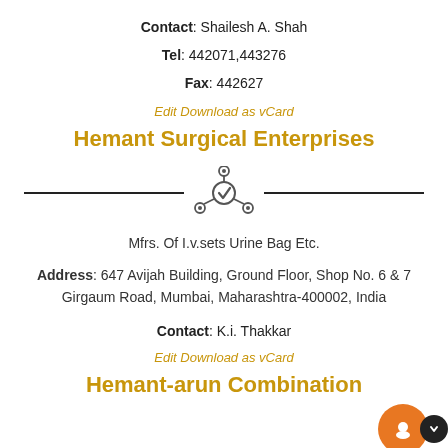Contact: Shailesh A. Shah
Tel: 442071,443276
Fax: 442627
Edit Download as vCard
Hemant Surgical Enterprises
[Figure (logo): Network/hub icon with central circle containing a checkmark and four surrounding circles connected by lines]
Mfrs. Of I.v.sets Urine Bag Etc.
Address: 647 Avijah Building, Ground Floor, Shop No. 6 & 7
Girgaum Road, Mumbai, Maharashtra-400002, India
Contact: K.i. Thakkar
Edit Download as vCard
Hemant-arun Combination